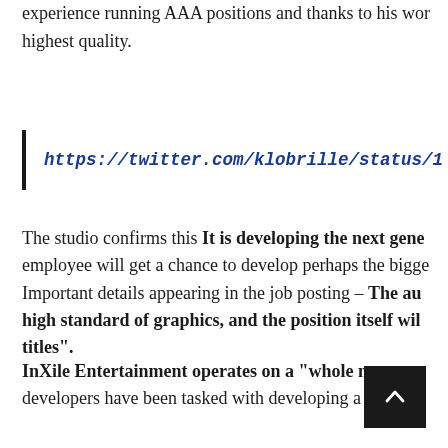experience running AAA positions and thanks to his work of the highest quality.
https://twitter.com/klobrille/status/1…
The studio confirms this It is developing the next gene… employee will get a chance to develop perhaps the bigge… Important details appearing in the job posting – The au… high standard of graphics, and the position itself wil… titles".
InXile Entertainment operates on a "whole new wor… developers have been tasked with developing a new IP.